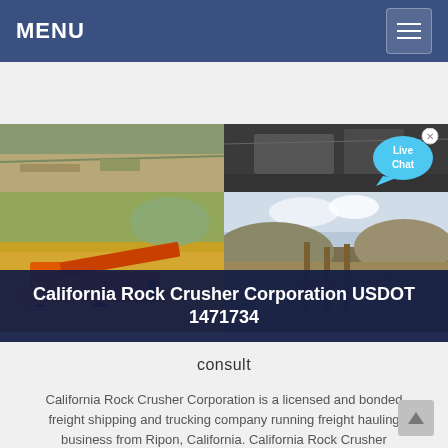MENU
[Figure (photo): Four-panel photo grid showing rock crusher and mining equipment operations in an open-pit quarry setting, with orange machinery and conveyors visible.]
California Rock Crusher Corporation USDOT 1471734
consult
California Rock Crusher Corporation is a licensed and bonded freight shipping and trucking company running freight hauling business from Ripon, California. California Rock Crusher Corporation USDOT